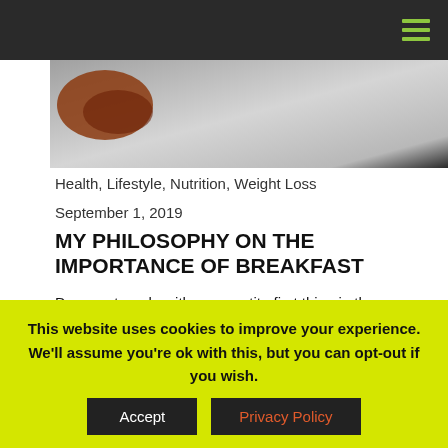[Figure (photo): Close-up food photograph on white background, partially visible at top of page]
Health, Lifestyle, Nutrition, Weight Loss
September 1, 2019
MY PHILOSOPHY ON THE IMPORTANCE OF BREAKFAST
Do you struggle with an appetite first thing in the morning? Do you skip breakfast? As cliché as it sounds I drill into my B-Fit...
READ MORE
This website uses cookies to improve your experience. We'll assume you're ok with this, but you can opt-out if you wish.
Accept
Privacy Policy